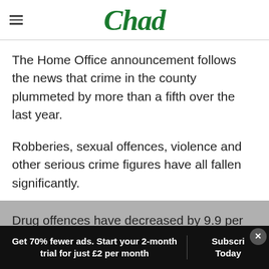Chad
The Home Office announcement follows the news that crime in the county plummeted by more than a fifth over the last year.
Robberies, sexual offences, violence and other serious crime figures have all fallen significantly.
Drug offences have decreased by 9.9 per cent over all, while a major crackdown on suspected
Get 70% fewer ads. Start your 2-month trial for just £2 per month | Subscribe Today